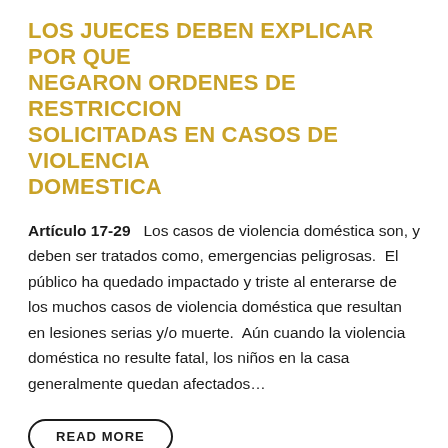LOS JUECES DEBEN EXPLICAR POR QUE NEGARON ORDENES DE RESTRICCION SOLICITADAS EN CASOS DE VIOLENCIA DOMESTICA
Artículo 17-29   Los casos de violencia doméstica son, y deben ser tratados como, emergencias peligrosas.  El público ha quedado impactado y triste al enterarse de los muchos casos de violencia doméstica que resultan en lesiones serias y/o muerte.  Aún cuando la violencia doméstica no resulte fatal, los niños en la casa generalmente quedan afectados…
READ MORE